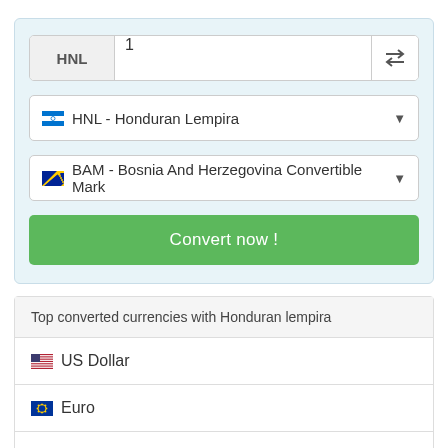[Figure (screenshot): Currency converter input with HNL label and value 1, plus swap button]
HNL - Honduran Lempira
BAM - Bosnia And Herzegovina Convertible Mark
Convert now !
Top converted currencies with Honduran lempira
US Dollar
Euro
Mexican Peso
Canadian Dollar